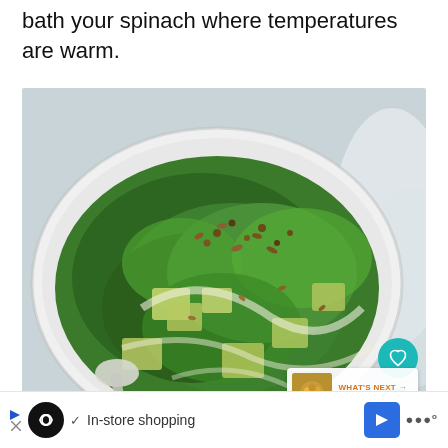bath your spinach where temperatures are warm.
[Figure (photo): Overhead close-up photo of palak paneer (Indian spinach curry with paneer cheese) in a white oval baking dish with a spoon, showing vibrant green spinach sauce with cubed paneer and whole spices on top.]
WHAT'S NEXT → Paneer Bhurji
In-store shopping